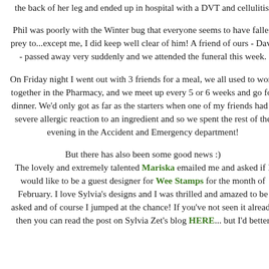the back of her leg and ended up in hospital with a DVT and cellulitis.
Phil was poorly with the Winter bug that everyone seems to have fallen prey to...except me, I did keep well clear of him! A friend of ours - Dave - passed away very suddenly and we attended the funeral this week.
On Friday night I went out with 3 friends for a meal, we all used to work together in the Pharmacy, and we meet up every 5 or 6 weeks and go for dinner. We'd only got as far as the starters when one of my friends had a severe allergic reaction to an ingredient and so we spent the rest of the evening in the Accident and Emergency department!
But there has also been some good news :) The lovely and extremely talented Mariska emailed me and asked if I would like to be a guest designer for Wee Stamps for the month of February. I love Sylvia's designs and I was thrilled and amazed to be asked and of course I jumped at the chance! If you've not seen it already then you can read the post on Sylvia Zet's blog HERE... but I'd better